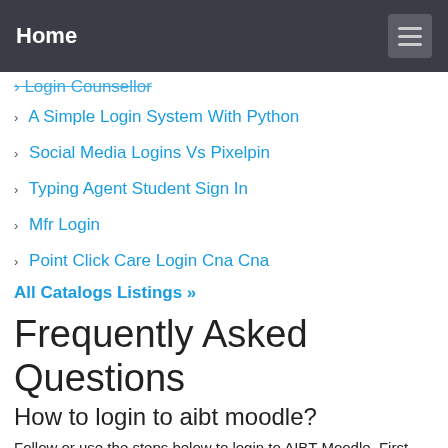Home
Login Counsellor
A Simple Login System With Python
Social Media Logins Vs Pixelpin
Typing Agent Student Sign In
Mfr Login
Point Click Care Login Cna Cna
All Catalogs Listings »
Frequently Asked Questions
How to login to aibt moodle?
Follow or use the steps below to login to AIBT Moodle. First Open this link moodle.aibt.qld.edu.au/login. Enter your username and password in the field provided here, which is shown to you as above. And you have to tick the 'Remember